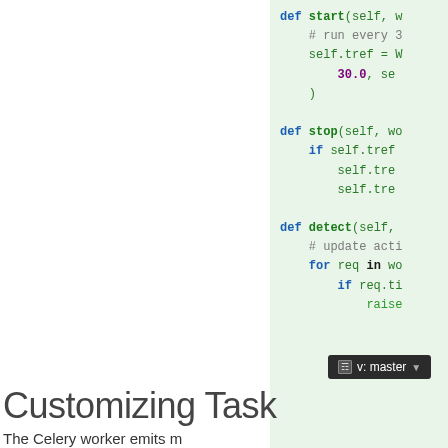[Figure (screenshot): Code snippet panel with green background showing Python class methods: start, stop, detect with syntax highlighting]
Customizing Task
The Celery worker emits m